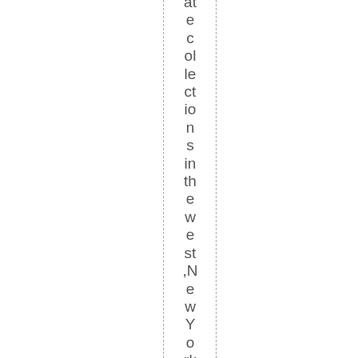at e c ol le ct io n s in th e w e st , N e w Y o rk a n d